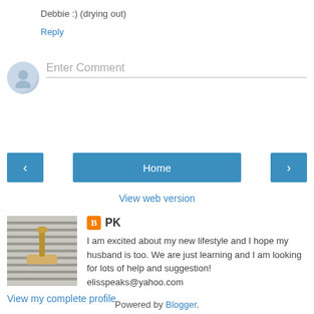Debbie :) (drying out)
Reply
[Figure (illustration): Gray avatar/user icon circle]
Enter Comment
< (previous navigation button)
Home (navigation button)
> (next navigation button)
View web version
[Figure (photo): Photo of a brush and cloth on a striped surface]
PK — I am excited about my new lifestyle and I hope my husband is too. We are just learning and I am looking for lots of help and suggestion! elisspeaks@yahoo.com
View my complete profile
Powered by Blogger.